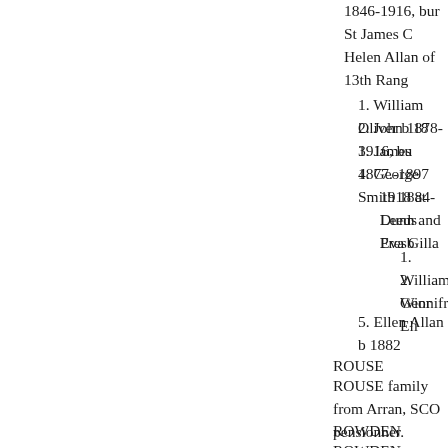1846-1916, bur St James C Helen Allan of 13th Rang
1. William Oliver b 18
2. John 1878-1916, bu
3. James 1877.-1897
4. George Smith 1884- 1918 at Leeds Presb Dunn and Eva Gilla
1. William Geor
2. Winnifred Eli
5. Ellen Allan b 1882
ROUSE
ROUSE family from Arran, SCO pensionner.
ROWDEN THOMAS
ROWDEN THOMAS m RACH